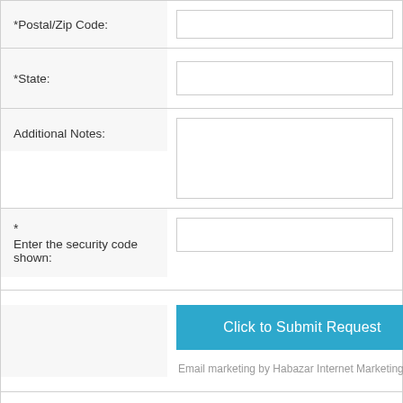*Postal/Zip Code:
*State:
Additional Notes:
* Enter the security code shown:
Click to Submit Request
Email marketing by Habazar Internet Marketing